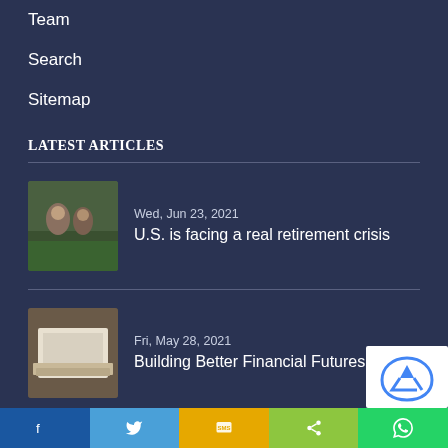Team
Search
Sitemap
LATEST ARTICLES
Wed, Jun 23, 2021
U.S. is facing a real retirement crisis
Fri, May 28, 2021
Building Better Financial Futures
FEATURED ARTICLE
Share buttons: Facebook, Twitter, SMS, Share, WhatsApp